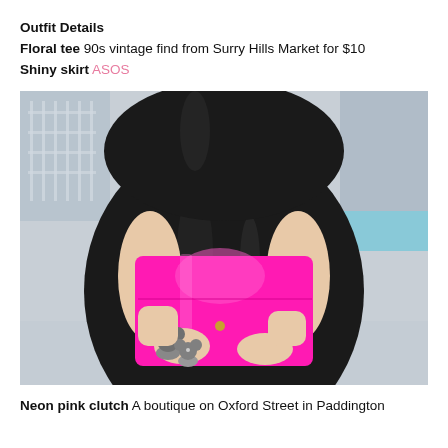Outfit Details
Floral tee 90s vintage find from Surry Hills Market for $10
Shiny skirt ASOS
[Figure (photo): Close-up photo of a person wearing a black shiny skirt, holding a neon pink patent leather clutch bag, with chunky silver Mickey Mouse-shaped rings on their fingers. Background shows a poolside setting.]
Neon pink clutch A boutique on Oxford Street in Paddington